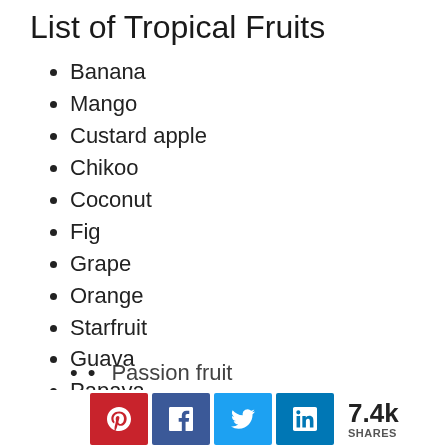List of Tropical Fruits
Banana
Mango
Custard apple
Chikoo
Coconut
Fig
Grape
Orange
Starfruit
Guava
Papaya
Lychee
Passion fruit (partially visible)
7.4k SHARES (social share buttons: Pinterest, Facebook, Twitter, LinkedIn)